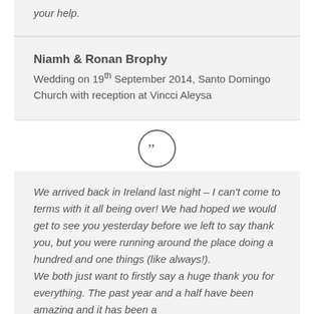your help.
Niamh & Ronan Brophy
Wedding on 19th September 2014, Santo Domingo Church with reception at Vincci Aleysa
[Figure (illustration): Circular quote mark icon with two closing quotation marks inside a circle outline]
We arrived back in Ireland last night – I can't come to terms with it all being over! We had hoped we would get to see you yesterday before we left to say thank you, but you were running around the place doing a hundred and one things (like always!).
We both just want to firstly say a huge thank you for everything. The past year and a half have been amazing and it has been a